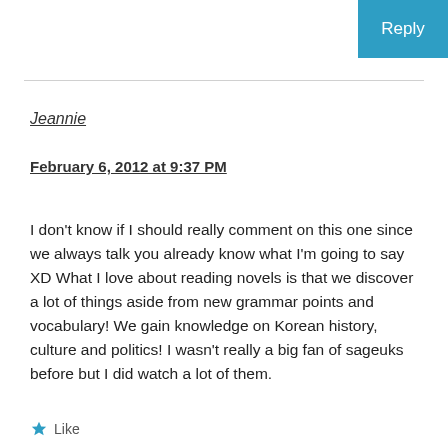Reply
Jeannie
February 6, 2012 at 9:37 PM
I don't know if I should really comment on this one since we always talk you already know what I'm going to say XD What I love about reading novels is that we discover a lot of things aside from new grammar points and vocabulary! We gain knowledge on Korean history, culture and politics! I wasn't really a big fan of sageuks before but I did watch a lot of them.
Like